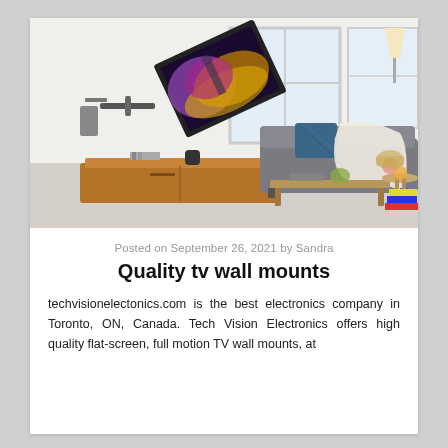[Figure (photo): Living room scene with a flat-screen TV mounted on a wall bracket, showing the TV tilted/swiveled at an angle displaying a colorful image. A grey sofa with blue and white pillows is in the background, along with a wooden media console, coffee table, and bright windows.]
Posted on September 26, 2021 by Sandra
Quality tv wall mounts
techvisionelectonics.com is the best electronics company in Toronto, ON, Canada. Tech Vision Electronics offers high quality flat-screen, full motion TV wall mounts, at